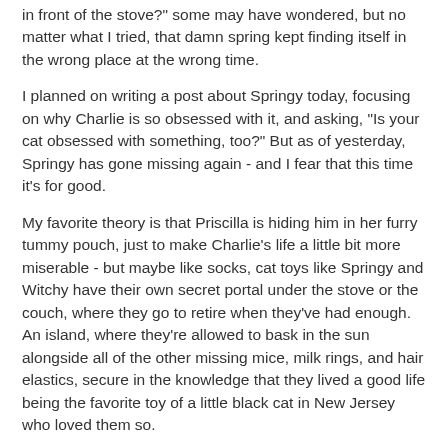in front of the stove?" some may have wondered, but no matter what I tried, that damn spring kept finding itself in the wrong place at the wrong time.
I planned on writing a post about Springy today, focusing on why Charlie is so obsessed with it, and asking, "Is your cat obsessed with something, too?" But as of yesterday, Springy has gone missing again - and I fear that this time it's for good.
My favorite theory is that Priscilla is hiding him in her furry tummy pouch, just to make Charlie's life a little bit more miserable - but maybe like socks, cat toys like Springy and Witchy have their own secret portal under the stove or the couch, where they go to retire when they've had enough. An island, where they're allowed to bask in the sun alongside all of the other missing mice, milk rings, and hair elastics, secure in the knowledge that they lived a good life being the favorite toy of a little black cat in New Jersey who loved them so.